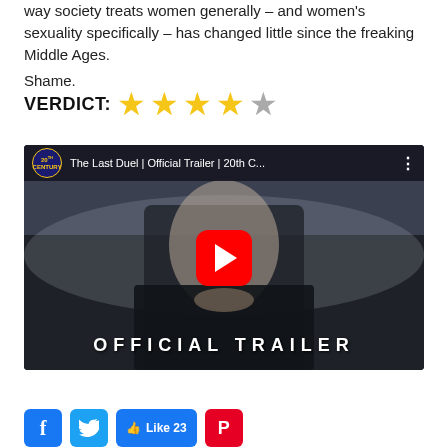way society treats women generally – and women's sexuality specifically – has changed little since the freaking Middle Ages.
Shame.
VERDICT: ★★★★☆
[Figure (screenshot): YouTube video thumbnail for 'The Last Duel | Official Trailer | 20th C...' showing a woman in medieval clothing with 'OFFICIAL TRAILER' text overlay and a YouTube play button]
[Figure (infographic): Social media share buttons: Facebook, Twitter, Like 23, Pinterest]